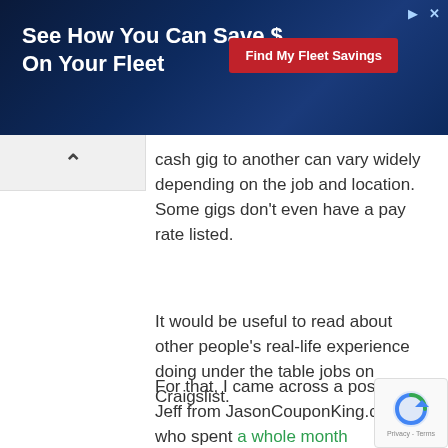[Figure (screenshot): Advertisement banner: 'See How You Can Save $ On Your Fleet' with a red 'Find My Fleet Savings' button on a dark blue tech-themed background]
cash gig to another can vary widely depending on the job and location. Some gigs don't even have a pay rate listed.
It would be useful to read about other people's real-life experience doing under the table jobs on Craigslist.
For that, I came across a post by Jeff from JasonCouponKing.com who spent a whole month